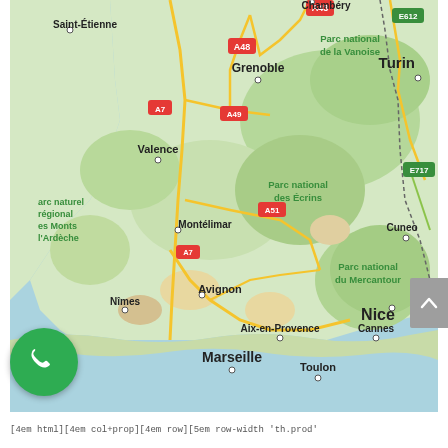[Figure (map): Google Maps screenshot showing southern France including cities: Saint-Étienne, Grenoble, Valence, Montélimar, Avignon, Nîmes, Aix-en-Provence, Marseille, Toulon, Cannes, Nice, Cuneo, Turin, Sanremo. National parks: Parc national de la Vanoise, Parc national des Écrins, Parc national du Mercantour. Motorways: A43, A48, A7, A49, A51, A7, E612, E717. Mediterranean coast visible at bottom.]
[4em html][4em col+prop][4em row][5em row-width 'th.prod'